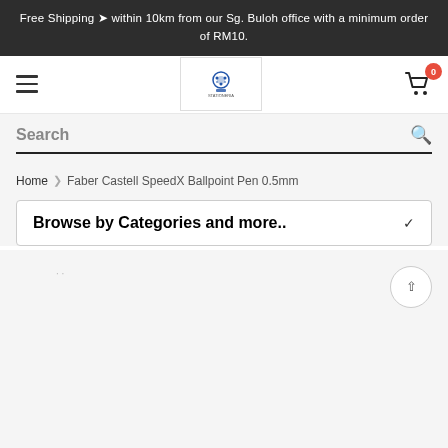Free Shipping 🚚 within 10km from our Sg. Buloh office with a minimum order of RM10.
[Figure (screenshot): Navigation bar with hamburger menu icon, store logo, and shopping cart with badge showing 0]
Search
Home > Faber Castell SpeedX Ballpoint Pen 0.5mm
Browse by Categories and more..